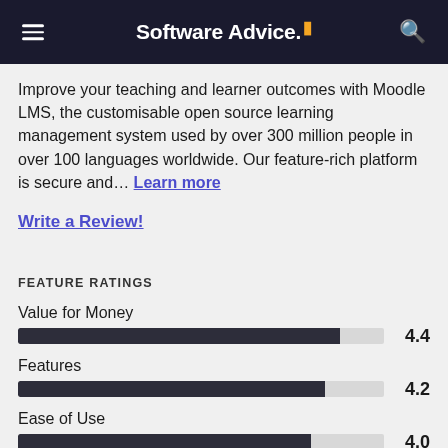Software Advice.
Improve your teaching and learner outcomes with Moodle LMS, the customisable open source learning management system used by over 300 million people in over 100 languages worldwide. Our feature-rich platform is secure and... Learn more
Write a Review!
FEATURE RATINGS
[Figure (bar-chart): Feature Ratings]
Value for Money
Features
Ease of Use